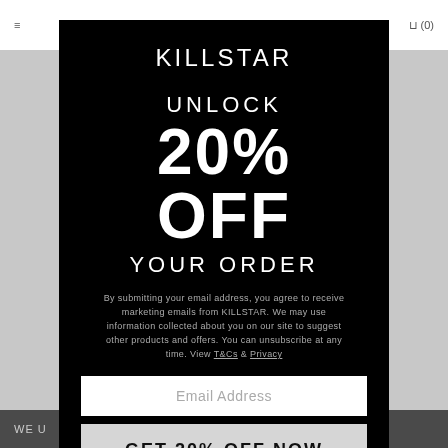WO... (0)
[Figure (screenshot): Background website page partially visible behind modal overlay, showing navigation and product listing in light grey.]
KILLSTAR
UNLOCK
20% OFF
YOUR ORDER
By submitting your email address, you agree to receive marketing emails from KILLSTAR. We may use information collected about you on our site to suggest other products and offers. You can unsubscribe at any time. View T&Cs & Privacy
Email Address
GET 20% OFF NOW
WE U... ENCE